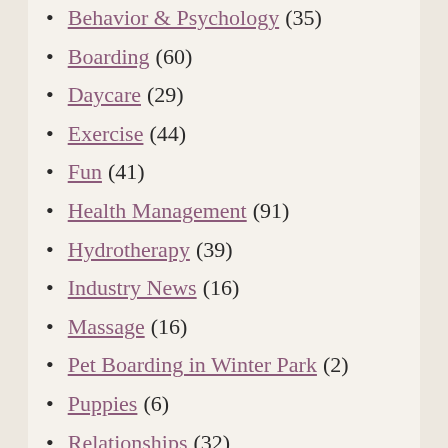Behavior & Psychology (35)
Boarding (60)
Daycare (29)
Exercise (44)
Fun (41)
Health Management (91)
Hydrotherapy (39)
Industry News (16)
Massage (16)
Pet Boarding in Winter Park (2)
Puppies (6)
Relationships (32)
Safety (30)